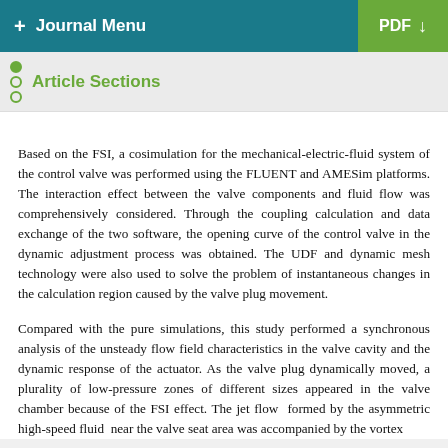+ Journal Menu  PDF ↓
Article Sections
Based on the FSI, a cosimulation for the mechanical-electric-fluid system of the control valve was performed using the FLUENT and AMESim platforms. The interaction effect between the valve components and fluid flow was comprehensively considered. Through the coupling calculation and data exchange of the two software, the opening curve of the control valve in the dynamic adjustment process was obtained. The UDF and dynamic mesh technology were also used to solve the problem of instantaneous changes in the calculation region caused by the valve plug movement.
Compared with the pure simulations, this study performed a synchronous analysis of the unsteady flow field characteristics in the valve cavity and the dynamic response of the actuator. As the valve plug dynamically moved, a plurality of low-pressure zones of different sizes appeared in the valve chamber because of the FSI effect. The jet flow formed by the asymmetric high-speed fluid near the valve seat area was accompanied by the vortex